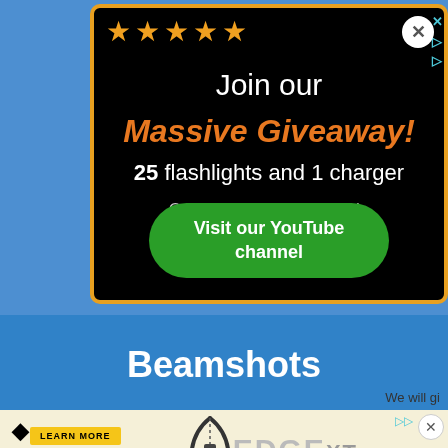[Figure (screenshot): Popup advertisement on dark background with gold border. Shows 5 orange stars, text 'Join our Massive Giveaway! 25 flashlights and 1 charger On our YouTube channel..' and a green button 'Visit our YouTube channel'. A close button is in the top right.]
Beamshots
We will gi
[Figure (screenshot): Bottom advertisement banner for Diamond Archery Edge XT product with yellow Learn More button and gray Edge XT logo text.]